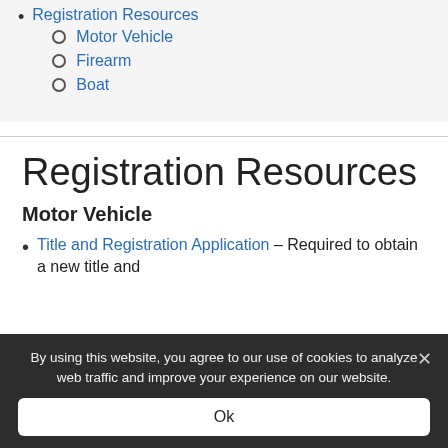Registration Resources
Motor Vehicle
Firearm
Boat
Registration Resources
Motor Vehicle
Title and Registration Application – Required to obtain a new title and
By using this website, you agree to our use of cookies to analyze web traffic and improve your experience on our website.
Ok